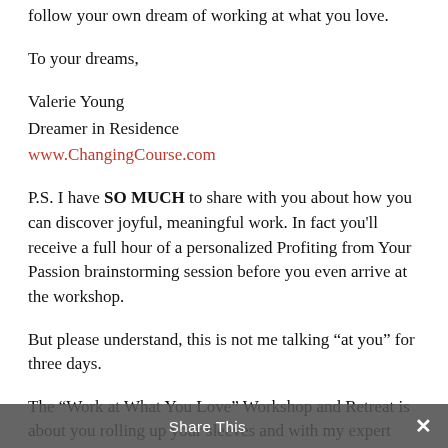follow your own dream of working at what you love.
To your dreams,
Valerie Young
Dreamer in Residence
www.ChangingCourse.com
P.S. I have SO MUCH to share with you about how you can discover joyful, meaningful work. In fact you'll receive a full hour of a personalized Profiting from Your Passion brainstorming session before you even arrive at the workshop.
But please understand, this is not me talking “at you” for three days.
The “Work at What You Love” Workshop and Retreat is about you rolling up your sleeves and with my expert